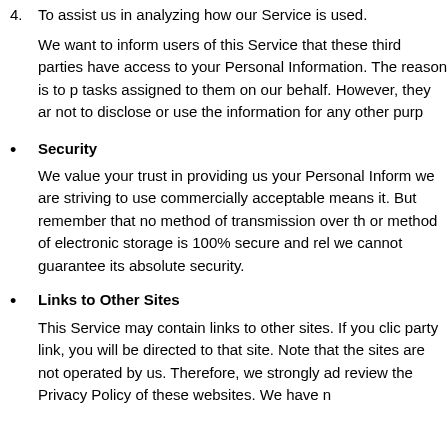4. To assist us in analyzing how our Service is used.
We want to inform users of this Service that these third parties have access to your Personal Information. The reason is to perform the tasks assigned to them on our behalf. However, they are obligated not to disclose or use the information for any other purpose.
Security — We value your trust in providing us your Personal Information, thus we are striving to use commercially acceptable means of protecting it. But remember that no method of transmission over the internet, or method of electronic storage is 100% secure and reliable, and we cannot guarantee its absolute security.
Links to Other Sites — This Service may contain links to other sites. If you click on a third-party link, you will be directed to that site. Note that these external sites are not operated by us. Therefore, we strongly advise you to review the Privacy Policy of these websites. We have no control over and assume no responsibility for the content...